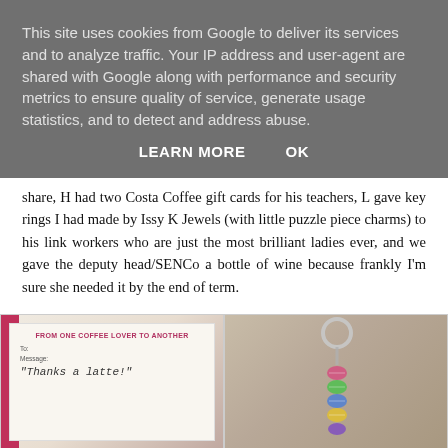This site uses cookies from Google to deliver its services and to analyze traffic. Your IP address and user-agent are shared with Google along with performance and security metrics to ensure quality of service, generate usage statistics, and to detect and address abuse.
LEARN MORE    OK
share, H had two Costa Coffee gift cards for his teachers, L gave key rings I had made by Issy K Jewels (with little puzzle piece charms) to his link workers who are just the most brilliant ladies ever, and we gave the deputy head/SENCo a bottle of wine because frankly I'm sure she needed it by the end of term.
[Figure (photo): Costa Coffee gift card showing 'FROM ONE COFFEE LOVER TO ANOTHER' printed in red/pink text at top, with 'To:' and 'Message:' fields, handwritten message reading '"Thanks a latte!"', pink/magenta strip on left side]
[Figure (photo): Close-up photo of a keyring with colorful beaded charms (puzzle piece themed), set against a wooden background]